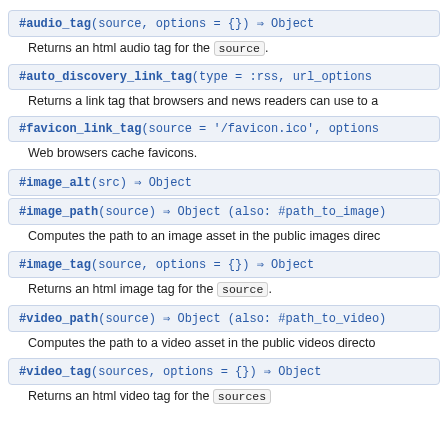#audio_tag(source, options = {}) ⇒ Object
Returns an html audio tag for the source.
#auto_discovery_link_tag(type = :rss, url_options
Returns a link tag that browsers and news readers can use to a
#favicon_link_tag(source = '/favicon.ico', options
Web browsers cache favicons.
#image_alt(src) ⇒ Object
#image_path(source) ⇒ Object (also: #path_to_image)
Computes the path to an image asset in the public images direc
#image_tag(source, options = {}) ⇒ Object
Returns an html image tag for the source.
#video_path(source) ⇒ Object (also: #path_to_video)
Computes the path to a video asset in the public videos directo
#video_tag(sources, options = {}) ⇒ Object
Returns an html video tag for the sources